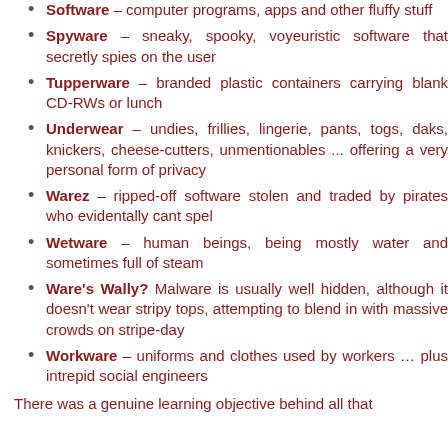Software – computer programs, apps and other fluffy stuff
Spyware – sneaky, spooky, voyeuristic software that secretly spies on the user
Tupperware – branded plastic containers carrying blank CD-RWs or lunch
Underwear – undies, frillies, lingerie, pants, togs, daks, knickers, cheese-cutters, unmentionables ... offering a very personal form of privacy
Warez – ripped-off software stolen and traded by pirates who evidentally cant spel
Wetware – human beings, being mostly water and sometimes full of steam
Ware's Wally? Malware is usually well hidden, although it doesn't wear stripy tops, attempting to blend in with massive crowds on stripe-day
Workware – uniforms and clothes used by workers ... plus intrepid social engineers
There was a genuine learning objective behind all that